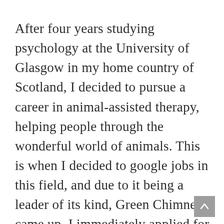After four years studying psychology at the University of Glasgow in my home country of Scotland, I decided to pursue a career in animal-assisted therapy, helping people through the wonderful world of animals. This is when I decided to google jobs in this field, and due to it being a leader of its kind, Green Chimneys came up. I immediately applied for their internship and in January of 2010, I